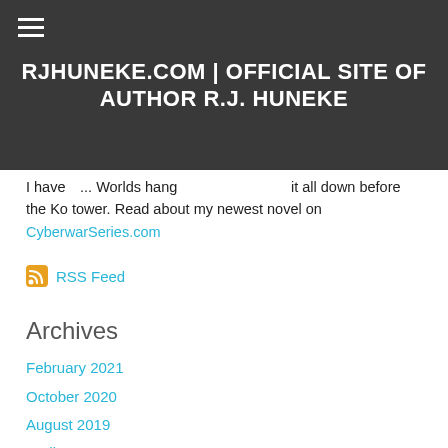RJHUNEKE.COM | OFFICIAL SITE OF AUTHOR R.J. HUNEKE
I have ... Worlds hang ... ng it all down before the Ko tower. Read about my newest novel on CyberwarSeries.com
RSS Feed
Archives
February 2021
October 2020
August 2019
April 2019
December 2018
October 2018
June 2018
December 2017